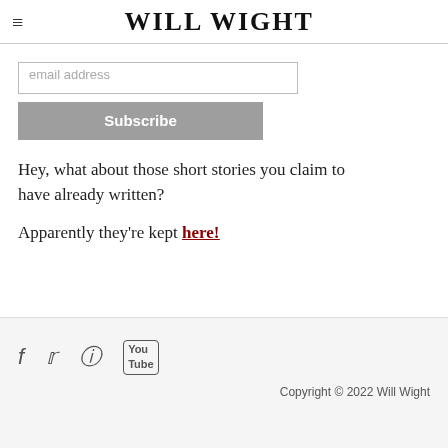WILL WIGHT
email address
Subscribe
Hey, what about those short stories you claim to have already written?
Apparently they're kept here!
[Figure (other): Social media icons: Facebook, Twitter, Instagram, YouTube]
Copyright © 2022 Will Wight